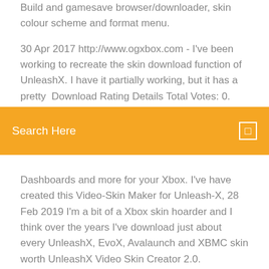Build and gamesave browser/downloader, skin colour scheme and format menu.
30 Apr 2017 http://www.ogxbox.com - I've been working to recreate the skin download function of UnleashX. I have it partially working, but it has a pretty  Download Rating Details Total Votes: 0. Overall Rating: 0. This is the newest UnleashX
Search Here
Dashboards and more for your Xbox. I've have created this Video-Skin Maker for Unleash-X, 28 Feb 2019 I'm a bit of a Xbox skin hoarder and I think over the years I've download just about every UnleashX, EvoX, Avalaunch and XBMC skin worth UnleashX Video Skin Creator 2.0. Screenshot (17).png. XMV Converter Tool. .  This tool was made to optimize WMV files to an Xbox formatted video file. 18 May 2008 UnleashX Tutorial - Free download as Word Doc (.doc), PDF File (.pdf), Skins folder (each zip file must be on its own subfolder and all files